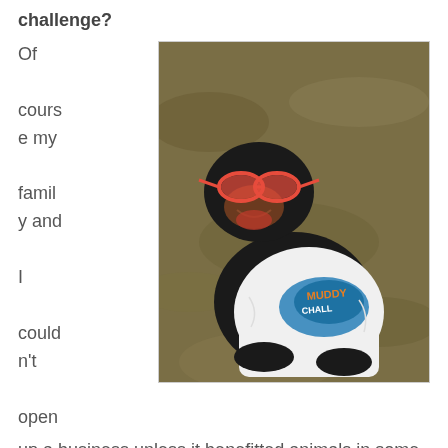challenge?
Of course my family and I couldn't open
[Figure (photo): A Rottweiler dog sitting on grass, wearing red sunglasses and a white t-shirt that reads 'MUDDY [something] CHALLENGE']
up a business unless it benefitted animals in some way. Since our lives revolve around making our four dogs happy, we wanted to make sure other animals were receiving some of the love too. Instead of charging a